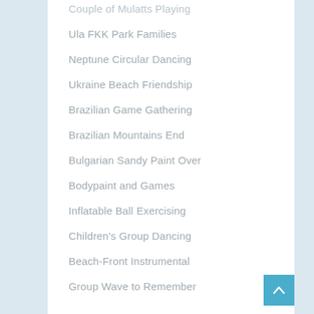Couple of Mulatts Playing
Ula FKK Park Families
Neptune Circular Dancing
Ukraine Beach Friendship
Brazilian Game Gathering
Brazilian Mountains End
Bulgarian Sandy Paint Over
Bodypaint and Games
Inflatable Ball Exercising
Children's Group Dancing
Beach-Front Instrumental
Group Wave to Remember